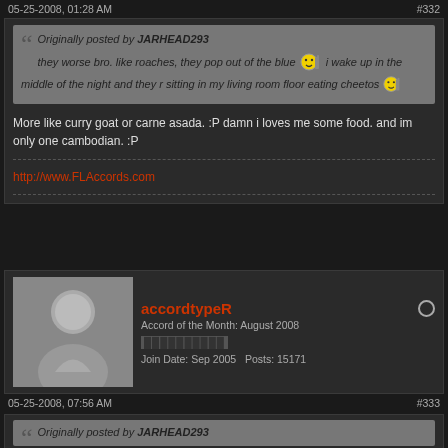05-25-2008, 01:28 AM  #332
Originally posted by JARHEAD293
they worse bro. like roaches, they pop out of the blue i wake up in the middle of the night and they r sitting in my living room floor eating cheetos
More like curry goat or carne asada. :P damn i loves me some food. and im only one cambodian. :P
http://www.FLAccords.com
accordtypeR
Accord of the Month: August 2008
Join Date: Sep 2005   Posts: 15171
05-25-2008, 07:56 AM  #333
Originally posted by JARHEAD293